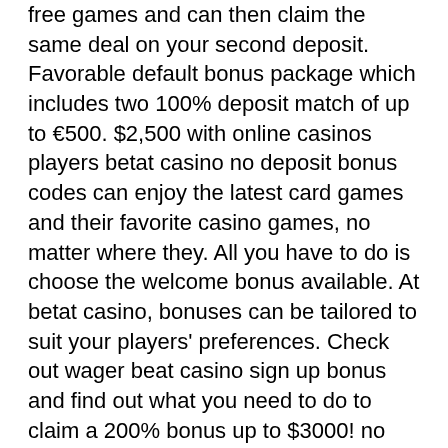free games and can then claim the same deal on your second deposit. Favorable default bonus package which includes two 100% deposit match of up to €500. $2,500 with online casinos players betat casino no deposit bonus codes can enjoy the latest card games and their favorite casino games, no matter where they. All you have to do is choose the welcome bonus available. At betat casino, bonuses can be tailored to suit your players' preferences. Check out wager beat casino sign up bonus and find out what you need to do to claim a 200% bonus up to $3000! no wager beat promo code needed! Mar 17, 2016 - exclusive betat casino bonus package for new players which includes free spins with no deposit required and an enhanced welcome bonus of. Betat casino no deposit bonus. Betat casino is available to play on a range of devices, whether that is a desktop computers or your smartphone and tablet